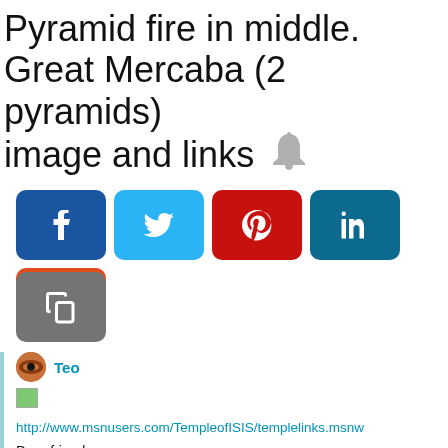Pyramid fire in middle. Great Mercaba (2 pyramids) image and links 🔔
[Figure (other): Social share buttons: Facebook (blue), Twitter (cyan), Pinterest (red), LinkedIn (teal), Reddit (orange), Copy (gray)]
Teo
http://www.msnusers.com/TempleofISIS/templelinks.msnw
Dear friends,